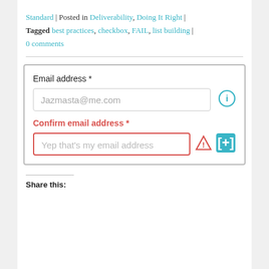Standard | Posted in Deliverability, Doing It Right | Tagged best practices, checkbox, FAIL, list building | 0 comments
[Figure (screenshot): Web form screenshot showing two fields: 'Email address *' with value 'Jazmasta@me.com' and an info icon, and 'Confirm email address *' (label in red) with placeholder 'Yep that's my email address' in a red-bordered input box with a warning triangle icon and a teal [+] button.]
Share this: